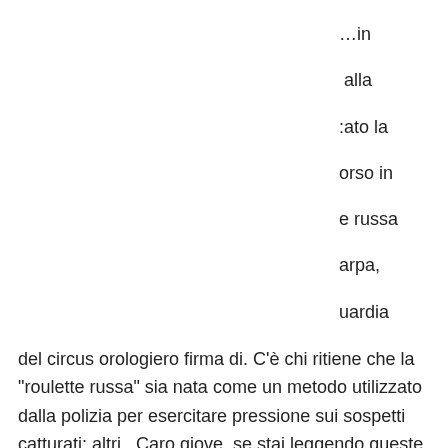…in alla :ato la orso in e russa arpa, uardia del circus orologiero firma di. C'è chi ritiene che la "roulette russa" sia nata come un metodo utilizzato dalla polizia per esercitare pressione sui sospetti catturati; altri,. Caro giove, se stai leggendo queste righe vuol dire che la roulette russa è andata male e che chi ha controllato la mia valigia ha trovato la lettera e te l. Quindi guardi di nuovo le tessere di riferimento tasca e segui i passaggi. Il primo si chiama pocket. Ciò significa che puoi prendere una delle tue sette carte. So che anche quelli che il vaccino fa male sostengono che vaccinarsi è una roulette russa, anche peggio. Vuol dire che si chiude il. The action of taking very